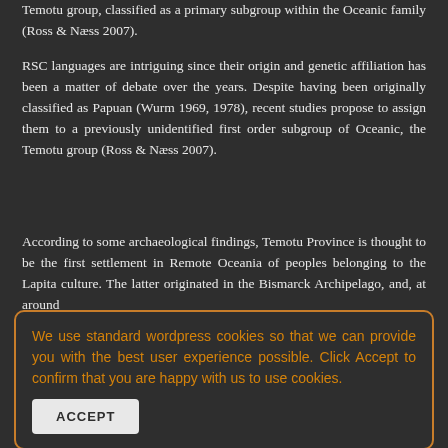Temotu group, classified as a primary subgroup within the Oceanic family (Ross & Næss 2007).
RSC languages are intriguing since their origin and genetic affiliation has been a matter of debate over the years. Despite having been originally classified as Papuan (Wurm 1969, 1978), recent studies propose to assign them to a previously unidentified first order subgroup of Oceanic, the Temotu group (Ross & Næss 2007).
According to some archaeological findings, Temotu Province is thought to be the first settlement in Remote Oceania of peoples belonging to the Lapita culture. The latter originated in the Bismarck Archipelago, and, at around after BC, well settled all small Pacific region
We use standard wordpress cookies so that we can provide you with the best user experience possible. Click Accept to confirm that you are happy with us to use cookies.
culture in Remote Oceania, we might assume that Proto